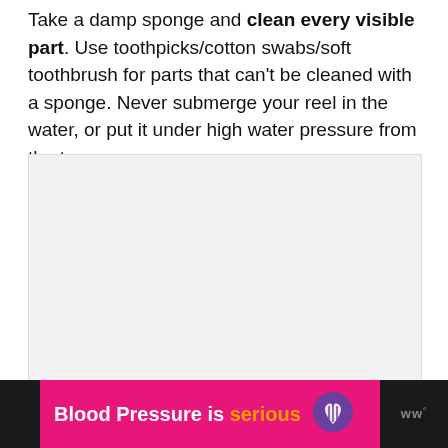Take a damp sponge and clean every visible part. Use toothpicks/cotton swabs/soft toothbrush for parts that can't be cleaned with a sponge. Never submerge your reel in the water, or put it under high water pressure from the tap.
[Figure (photo): A light gray image placeholder box with three small gray square dots at the bottom center, indicating an image carousel or loading state.]
[Figure (infographic): A pink advertisement banner reading 'Blood Pressure is serious' with a purple heart logo icon, on a dark background. A WW logo badge appears to the right.]